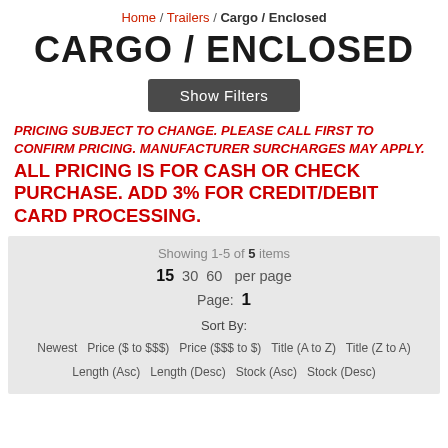Home / Trailers / Cargo / Enclosed
CARGO / ENCLOSED
Show Filters
PRICING SUBJECT TO CHANGE. PLEASE CALL FIRST TO CONFIRM PRICING. MANUFACTURER SURCHARGES MAY APPLY.
ALL PRICING IS FOR CASH OR CHECK PURCHASE. ADD 3% FOR CREDIT/DEBIT CARD PROCESSING.
Showing 1-5 of 5 items
15  30  60  per page
Page: 1
Sort By:
Newest  Price ($ to $$$)  Price ($$$ to $)  Title (A to Z)  Title (Z to A)
Length (Asc)  Length (Desc)  Stock (Asc)  Stock (Desc)